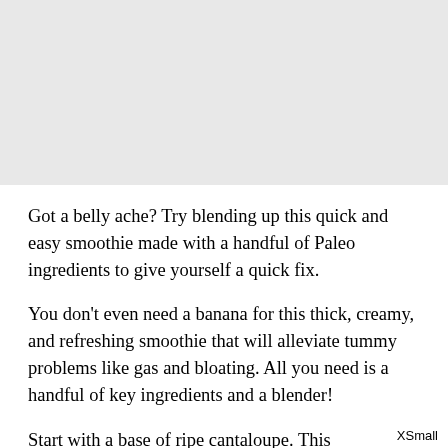[Figure (photo): Light gray placeholder image area occupying the top portion of the page]
Got a belly ache? Try blending up this quick and easy smoothie made with a handful of Paleo ingredients to give yourself a quick fix.
You don't even need a banana for this thick, creamy, and refreshing smoothie that will alleviate tummy problems like gas and bloating. All you need is a handful of key ingredients and a blender!
Start with a base of ripe cantaloupe. This
XSmall